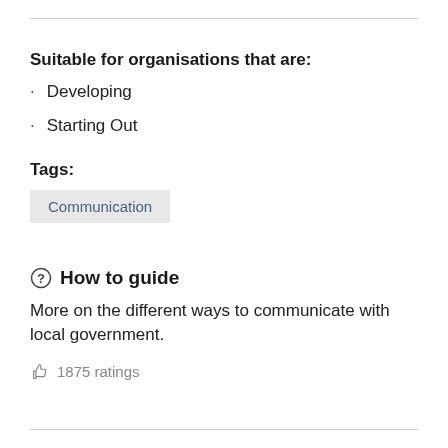Suitable for organisations that are:
Developing
Starting Out
Tags:
Communication
How to guide
More on the different ways to communicate with local government.
1875 ratings